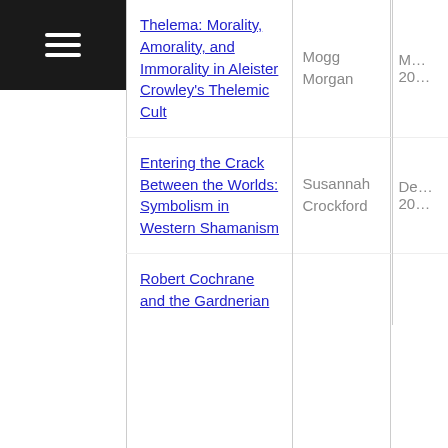[Figure (other): Hamburger/menu icon (three horizontal white lines on dark background)]
| Title | Author | Date |
| --- | --- | --- |
| Thelema: Morality, Amorality, and Immorality in Aleister Crowley's Thelemic Cult | Mogg Morgan | 20… |
| Entering the Crack Between the Worlds: Symbolism in Western Shamanism | Susannah Crockford | De… 20… |
| Robert Cochrane and the Gardnerian |  |  |